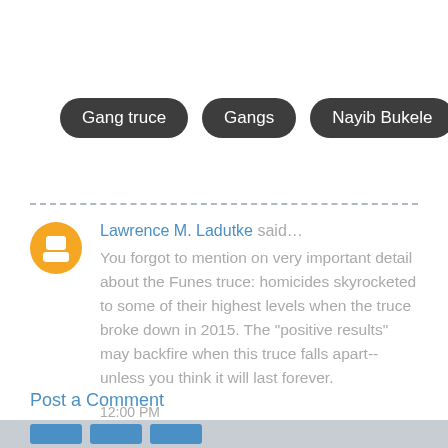Gang truce
Gangs
Nayib Bukele
Lawrence M. Ladutke said… You forgot to mention on very important detail about the Funes truce: homicides skyrocketed to some of their highest levels when the truce broke down in 2015. The "positive results" may backfire when this truce falls apart--unless you think it will last forever. 12:00 PM
Post a Comment